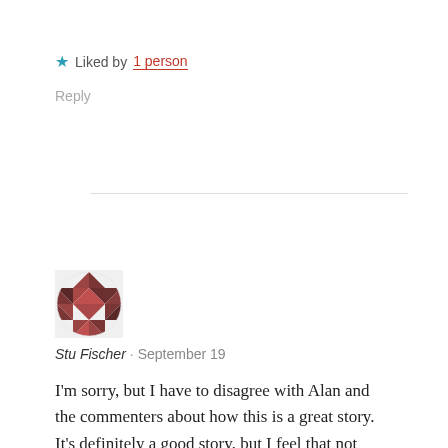★ Liked by 1 person
Reply
[Figure (illustration): User avatar icon — circular mosaic pattern in dark red/maroon tones]
Stu Fischer · September 19
I'm sorry, but I have to disagree with Alan and the commenters about how this is a great story. It's definitely a good story, but I feel that not depicting Deadman's aura when he had